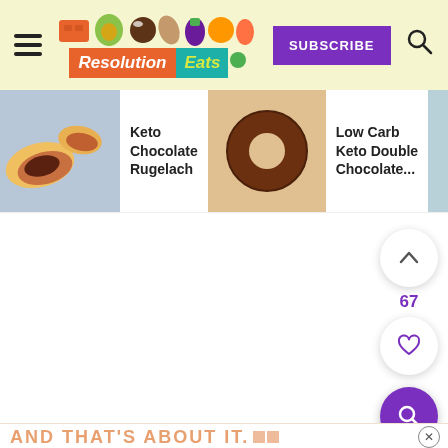[Figure (screenshot): Website header for Resolution Eats with hamburger menu, logo, SUBSCRIBE button, and search icon on a light yellow background]
[Figure (screenshot): Horizontal recipe carousel showing: Keto Chocolate Rugelach, Low Carb Keto Double Chocolate..., Chocolate Lava Keto Mug Cake with thumbnail images]
Keto Chocolate Rugelach
Low Carb Keto Double Chocolate...
Chocolate Lava Keto Mug Cake
67
AND THAT'S ABOUT IT.